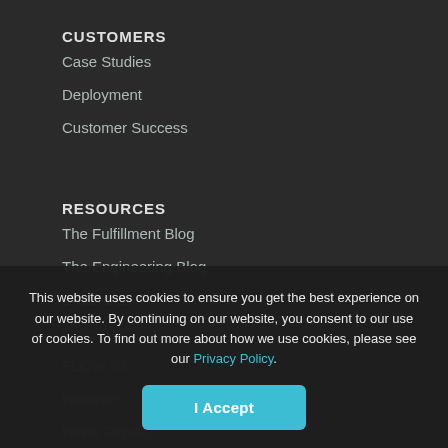CUSTOMERS
Case Studies
Deployment
Customer Success
RESOURCES
The Fulfillment Blog
The Engineering Blog
Brochures
Case Stu...
FLOW 20...
Webinars
White Papers
Pick with Chuck (Int...
This website uses cookies to ensure you get the best experience on our website. By continuing on our website, you consent to our use of cookies. To find out more about how we use cookies, please see our Privacy Policy.
I Accept